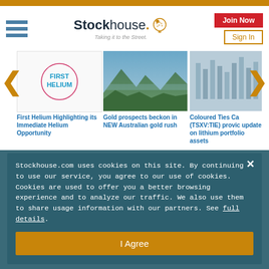Stockhouse. Taking it to the Street.
[Figure (logo): Stockhouse logo with icon and tagline 'Taking it to the Street.']
[Figure (illustration): First Helium company logo - pink circle with FIRST HELIUM text]
First Helium Highlighting its Immediate Helium Opportunity
[Figure (photo): Australian landscape with rock formations - three sisters or similar]
Gold prospects beckon in NEW Australian gold rush
[Figure (photo): Close-up of financial data charts/graphs on blue-tinted background]
Coloured Ties Ca (TSXV:TIE) provic update on lithium portfolio assets
Stockhouse.com uses cookies on this site. By continuing to use our service, you agree to our use of cookies. Cookies are used to offer you a better browsing experience and to analyze our traffic. We also use them to share usage information with our partners. See full details.